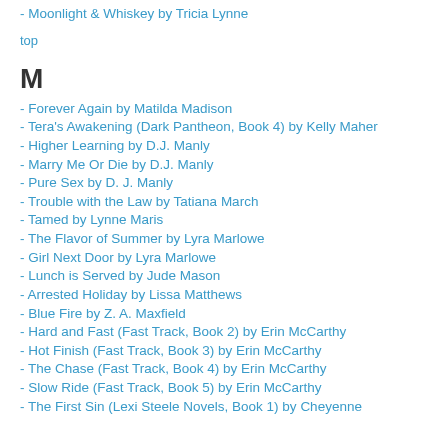- Moonlight & Whiskey by Tricia Lynne
top
M
- Forever Again by Matilda Madison
- Tera's Awakening (Dark Pantheon, Book 4) by Kelly Maher
- Higher Learning by D.J. Manly
- Marry Me Or Die by D.J. Manly
- Pure Sex by D. J. Manly
- Trouble with the Law by Tatiana March
- Tamed by Lynne Maris
- The Flavor of Summer by Lyra Marlowe
- Girl Next Door by Lyra Marlowe
- Lunch is Served by Jude Mason
- Arrested Holiday by Lissa Matthews
- Blue Fire by Z. A. Maxfield
- Hard and Fast (Fast Track, Book 2) by Erin McCarthy
- Hot Finish (Fast Track, Book 3) by Erin McCarthy
- The Chase (Fast Track, Book 4) by Erin McCarthy
- Slow Ride (Fast Track, Book 5) by Erin McCarthy
- The First Sin (Lexi Steele Novels, Book 1) by Cheyenne